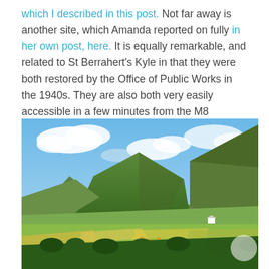which I described in this post. Not far away is another site, which Amanda reported on fully in her own post, here. It is equally remarkable, and related to St Berrahert's Kyle in that they were both restored by the Office of Public Works in the 1940s. They are also both very easily accessible in a few minutes from the M8 motorway at Cahir.
[Figure (photo): Landscape photograph showing green rolling hills and mountains under a blue sky with clouds. In the foreground are fields with haystacks and trees.]